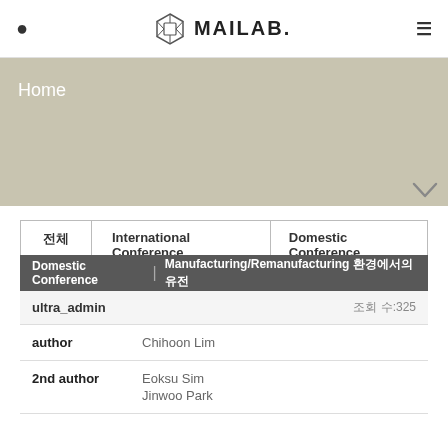MAILAB.
[Figure (screenshot): MAILAB logo with hexagon box icon and bold text MAILAB.]
Home
전체  International Conference  Domestic Conference
| Field | Value |
| --- | --- |
| Domestic Conference | Manufacturing/Remanufacturing 환경에서의 유전 |  |
| ultra_admin | 조회 수:325 |
| author | Chihoon Lim |
| 2nd author | Eoksu Sim
Jinwoo Park |